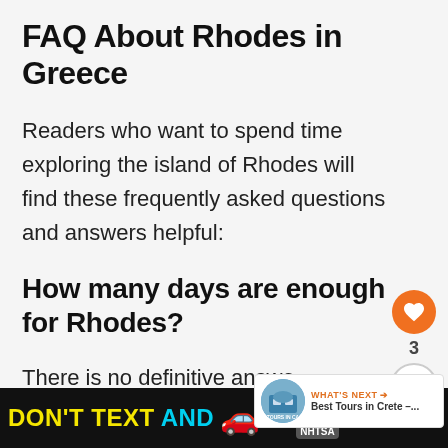FAQ About Rhodes in Greece
Readers who want to spend time exploring the island of Rhodes will find these frequently asked questions and answers helpful:
How many days are enough for Rhodes?
There is no definitive answer... everyone's travel style and
[Figure (infographic): Bottom advertisement bar: DON'T TEXT AND [car emoji] with NHTSA branding on black background]